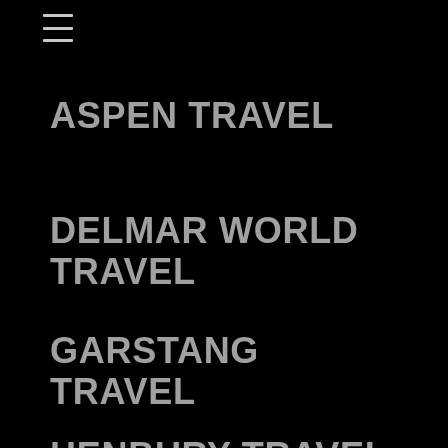[Figure (other): Hamburger menu icon (three horizontal lines) in top left corner]
ASPEN TRAVEL
DELMAR WORLD TRAVEL
GARSTANG TRAVEL
HENBURY TRAVEL